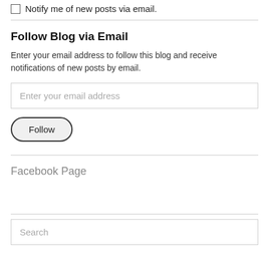Notify me of new posts via email.
Follow Blog via Email
Enter your email address to follow this blog and receive notifications of new posts by email.
Enter your email address
Follow
Facebook Page
Search